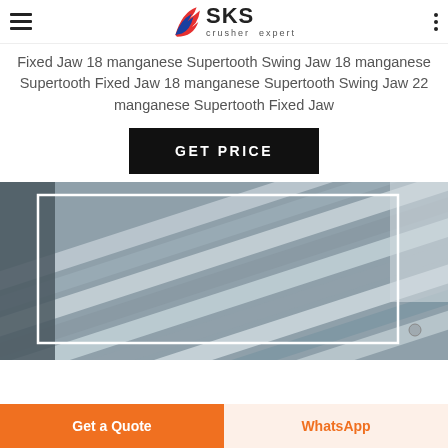SKS crusher expert
Fixed Jaw 18 manganese Supertooth Swing Jaw 18 manganese Supertooth Fixed Jaw 18 manganese Supertooth Swing Jaw 22 manganese Supertooth Fixed Jaw
[Figure (other): GET PRICE button - black rectangle with white bold text]
[Figure (photo): Photo of industrial jaw crusher manganese wear parts (swing jaw plates) stacked at an angle, grey metal components with rectangular ridged surfaces]
Get a Quote | WhatsApp